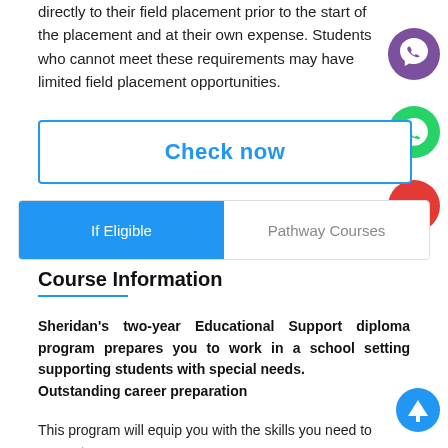directly to their field placement prior to the start of the placement and at their own expense. Students who cannot meet these requirements may have limited field placement opportunities.
Check now
If Eligible | Pathway Courses
Course Information
Sheridan's two-year Educational Support diploma program prepares you to work in a school setting supporting students with special needs. Outstanding career preparation
This program will equip you with the skills you need to support